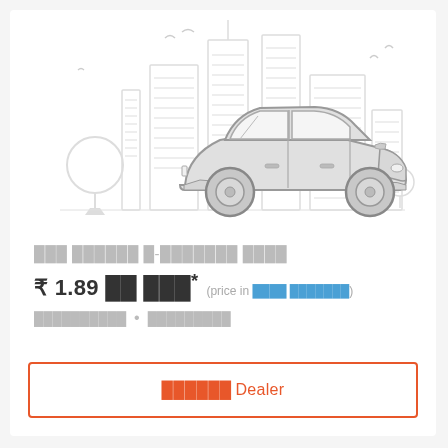[Figure (illustration): A line-art style illustration of a sedan car with a city skyline background. The car is light gray with rounded shapes. Buildings and trees are shown in light gray outlines behind the car.]
███ ██████ █-███████ ████
₹ 1.89 ██ ███* (price in ████ ███████)
██████████ • █████████
██████ Dealer